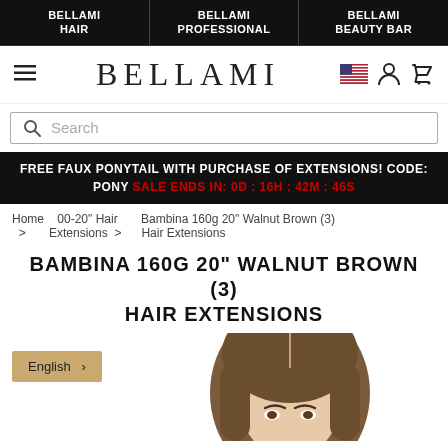BELLAMI HAIR | BELLAMI PROFESSIONAL | BELLAMI BEAUTY BAR
BELLAMI
Search
FREE FAUX PONYTAIL WITH PURCHASE OF EXTENSIONS! CODE: PONY SALE ENDS IN: 0D : 16H : 42M : 46S
Home > 00-20" Hair Extensions > Bambina 160g 20" Walnut Brown (3) Hair Extensions
BAMBINA 160G 20" WALNUT BROWN (3) HAIR EXTENSIONS
[Figure (photo): Photo of a woman with long walnut brown hair extensions, face cropped to forehead and eyes area]
English >